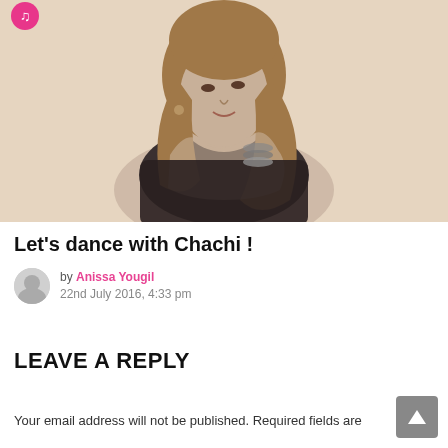[Figure (photo): Black and white / sepia-toned portrait photo of a young woman with long wavy hair, posing with hands crossed under her chin, wearing a strapless top and bracelets. A pink circular icon is visible in the top-left corner of the image.]
Let's dance with Chachi !
by Anissa Yougil
22nd July 2016, 4:33 pm
LEAVE A REPLY
Your email address will not be published. Required fields are